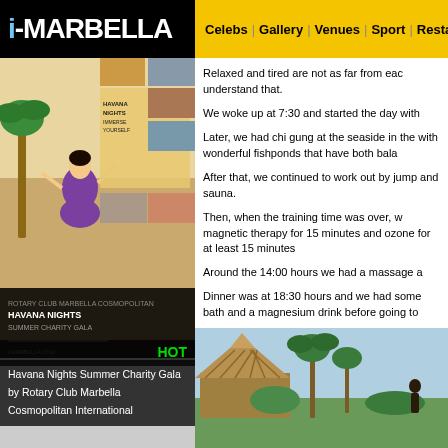i-MARBELLA | Celebs | Gallery | Venues | Sport | Restau...
[Figure (photo): Havana Nights Summer Charity Gala poster with HOT label overlay]
Havana Nights Summer Charity Gala by Rotary Club Marbella Cosmopolitan International
Relaxed and tired are not as far from each other as you might understand that.
We woke up at 7:30 and started the day with
Later, we had chi gung at the seaside in the with wonderful fishponds that have both bala
After that, we continued to work out by jump and sauna.
Then, when the training time was over, w magnetic therapy for 15 minutes and ozone for at least 15 minutes
Around the 14:00 hours we had a massage a
Dinner was at 18:30 hours and we had some bath and a magnesium drink before going to
At the end of the day, I felt tired but it was re
[Figure (photo): Outdoor seaside area with thatched roof hut, palm trees and greenery]